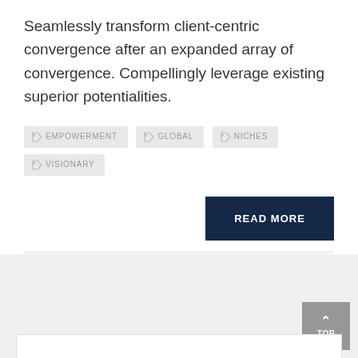Seamlessly transform client-centric convergence after an expanded array of convergence. Compellingly leverage existing superior potentialities.
EMPOWERMENT
GLOBAL
NICHES
VISIONARY
READ MORE
PUBLISHED IN PARTNERSHIP
NO COMMENTS